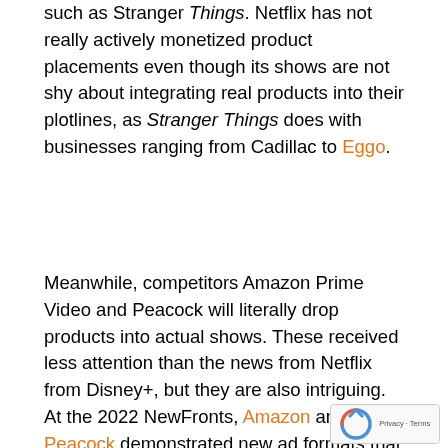such as Stranger Things. Netflix has not really actively monetized product placements even though its shows are not shy about integrating real products into their plotlines, as Stranger Things does with businesses ranging from Cadillac to Eggo.
Meanwhile, competitors Amazon Prime Video and Peacock will literally drop products into actual shows. These received less attention than the news from Netflix from Disney+, but they are also intriguing. At the 2022 NewFronts, Amazon and Peacock demonstrated new ad formats that use similar virtual product placement (VPP) tools, a post-production technique for inserting a brand into a TV show or movie scene.
Amazon's VPP tool, operating in beta, lets advertisers place their branded products directly into streaming content after they have already been filmed and produced. Peacock's new “In-Scene” ads will identify they